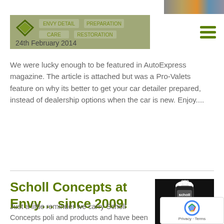[Figure (photo): Top right strip showing partial car images]
24th February 2014
[Figure (logo): Envy detailing logo with green diamond and text watermark]
We were lucky enough to be featured in AutoExpress magazine. The article is attached but was a Pro-Valets feature on why its better to get your car detailer prepared, instead of dealership options when the car is new. Enjoy....
Scholl Concepts at Envy… since 2009!
[Figure (photo): Scholl Concepts S3 polishing product bottle on dark background]
18th June 2011
Just a little reminder we carry Scholl Concepts poli and products and have been since 2009. Check out the